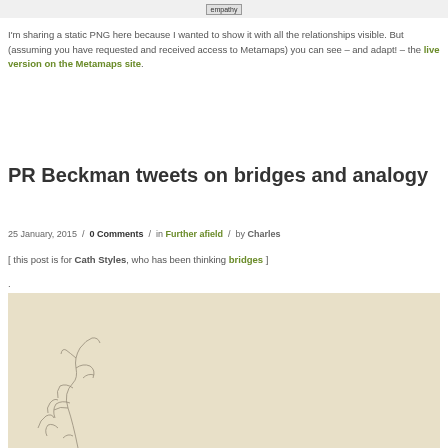[Figure (screenshot): Top image bar with 'empathy' label button visible]
I'm sharing a static PNG here because I wanted to show it with all the relationships visible. But (assuming you have requested and received access to Metamaps) you can see – and adapt! – the live version on the Metamaps site.
PR Beckman tweets on bridges and analogy
25 January, 2015 / 0 Comments / in Further afield / by Charles
[ this post is for Cath Styles, who has been thinking bridges ]
.
[Figure (illustration): Beige/cream colored background with hand-drawn sketch of plants or botanical illustration in bottom left area]